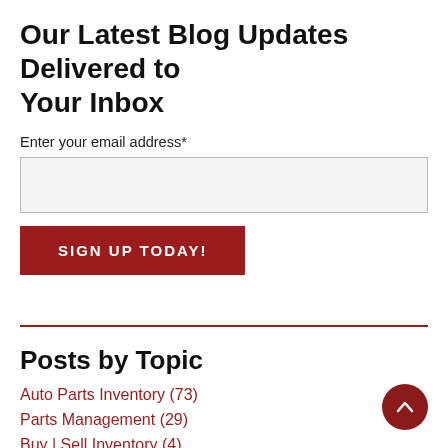Our Latest Blog Updates Delivered to Your Inbox
Enter your email address*
SIGN UP TODAY!
Posts by Topic
Auto Parts Inventory (73)
Parts Management (29)
Buy | Sell Inventory (4)